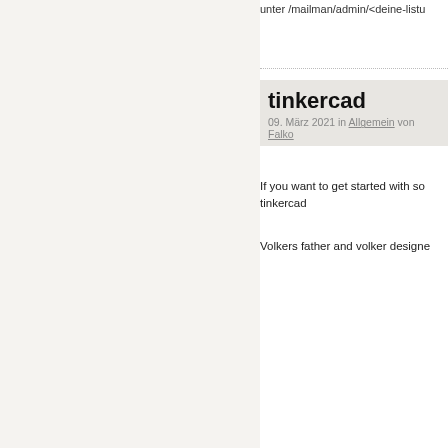unter /mailman/admin/<deine-lis
tinkercad
09. März 2021 in Allgemein von Falko
If you want to get started with so tinkercad
Volkers father and volker designe